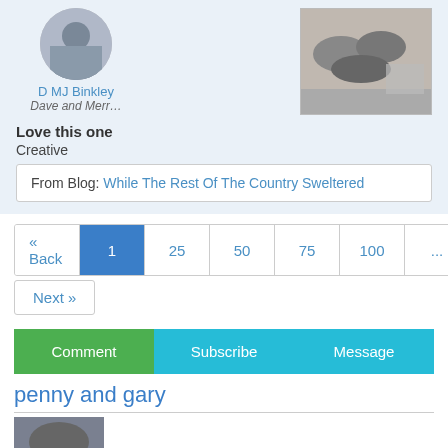D MJ Binkley
Dave and Merr…
[Figure (photo): Circular profile photo of person]
[Figure (photo): Photo of hats on display]
Love this one
Creative
From Blog: While The Rest Of The Country Sweltered
« Back
1
25
50
75
100
...
500
Next »
Comment
Subscribe
Message
penny and gary
[Figure (photo): Partial photo at bottom]